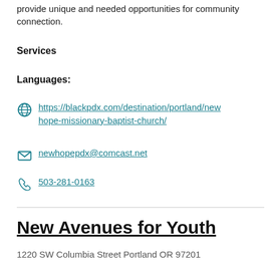provide unique and needed opportunities for community connection.
Services
Languages:
https://blackpdx.com/destination/portland/new-hope-missionary-baptist-church/
newhopepdx@comcast.net
503-281-0163
New Avenues for Youth
1220 SW Columbia Street Portland OR 97201